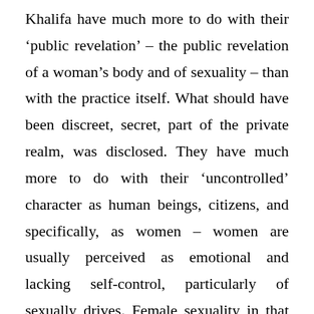Khalifa have much more to do with their 'public revelation' – the public revelation of a woman's body and of sexuality – than with the practice itself. What should have been discreet, secret, part of the private realm, was disclosed. They have much more to do with their 'uncontrolled' character as human beings, citizens, and specifically, as women – women are usually perceived as emotional and lacking self-control, particularly of sexually drives. Female sexuality in that perspective, if unsatisfied or uncontrolled,